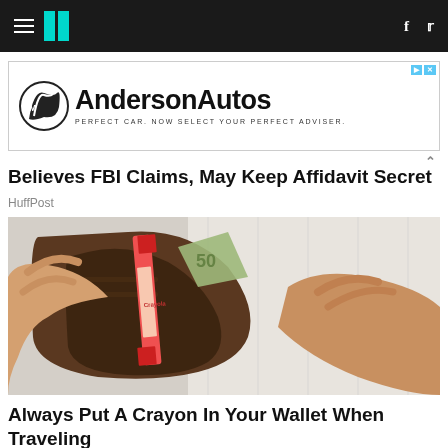HuffPost navigation bar with hamburger menu, logo, Facebook and Twitter icons
[Figure (screenshot): Anderson Autos advertisement banner: logo with circular M symbol, text 'Anderson Autos', tagline 'PERFECT CAR. NOW SELECT YOUR PERFECT ADVISER.']
Believes FBI Claims, May Keep Affidavit Secret
HuffPost
[Figure (photo): Photo of hands holding open a brown leather wallet showing a red Crayola crayon inside and what appears to be Euro banknotes, on a white wooden surface background]
Always Put A Crayon In Your Wallet When Traveling
SoGoodly